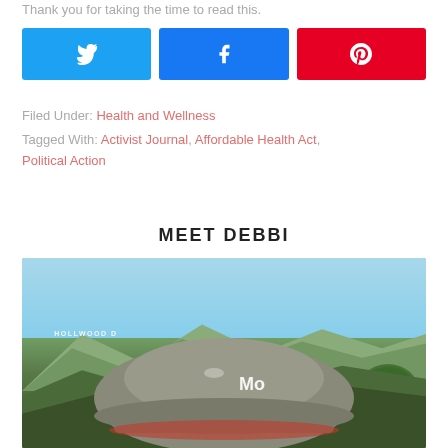Thank you for taking the time to read this.
[Figure (other): Three social share buttons: Twitter (blue), Facebook (dark blue), Pinterest (red)]
Filed Under: Health and Wellness
Tagged With: Activist Journal, Affordable Health Act, Political Action
MEET DEBBI
[Figure (photo): Photo of person wearing a grey baseball cap with text 'Mo' visible, Hollywood sign in background on green hills, blue sky]